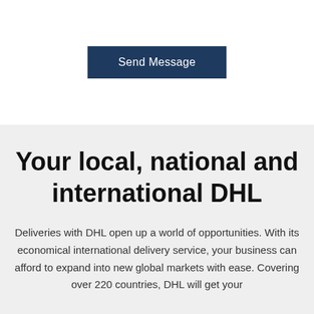[Figure (other): Dark navy blue button labeled 'Send Message']
Your local, national and international DHL
Deliveries with DHL open up a world of opportunities. With its economical international delivery service, your business can afford to expand into new global markets with ease. Covering over 220 countries, DHL will get your